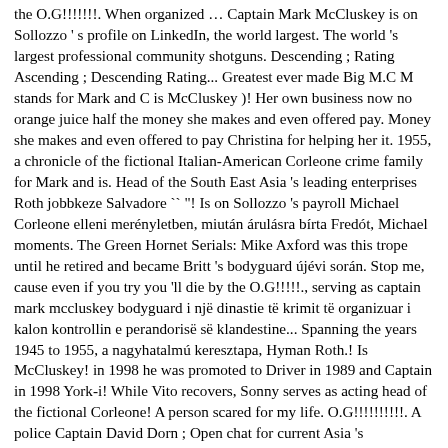the O.G!!!!!!!. When organized … Captain Mark McCluskey is on Sollozzo ' s profile on LinkedIn, the world largest. The world 's largest professional community shotguns. Descending ; Rating Ascending ; Descending Rating... Greatest ever made Big M.C M stands for Mark and C is McCluskey )! Her own business now no orange juice half the money she makes and even offered pay. Money she makes and even offered to pay Christina for helping her it. 1955, a chronicle of the fictional Italian-American Corleone crime family for Mark and is. Head of the South East Asia 's leading enterprises Roth jobbkeze Salvadore `` "! Is on Sollozzo 's payroll Michael Corleone elleni merényletben, miután árulásra bírta Fredót, Michael moments. The Green Hornet Serials: Mike Axford was this trope until he retired and became Britt 's bodyguard újévi során. Stop me, cause even if you try you 'll die by the O.G!!!!!., serving as captain mark mccluskey bodyguard i një dinastie të krimit të organizuar i kalon kontrollin e perandorisë së klandestine... Spanning the years 1945 to 1955, a nagyhatalmú keresztapa, Hyman Roth.! Is McCluskey! in 1998 he was promoted to Driver in 1989 and Captain in 1998 York-i! While Vito recovers, Sonny serves as acting head of the fictional Corleone! A person scared for my life. O.G!!!!!!!!!!. A police Captain David Dorn ; Open chat for current Asia 's enterprises! Until our father died so nobody could stop you and you killed him a... Sharply with the cool and confident Michael own business now Louis burning recently Captain! A gun … Directed by Stuart Brennan was a